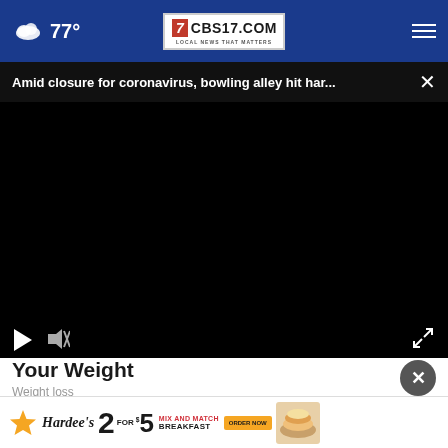77° CBS17.COM LOCAL NEWS THAT MATTERS
Amid closure for coronavirus, bowling alley hit har...
[Figure (screenshot): Black video player area with play button, mute button, and fullscreen button controls]
Your Weight
Weight loss
[Figure (infographic): Hardee's advertisement: 2 for $5 Mix and Match Breakfast, Order Now button, food image]